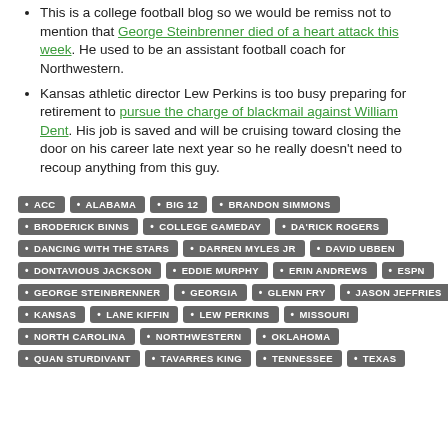This is a college football blog so we would be remiss not to mention that George Steinbrenner died of a heart attack this week. He used to be an assistant football coach for Northwestern.
Kansas athletic director Lew Perkins is too busy preparing for retirement to pursue the charge of blackmail against William Dent. His job is saved and will be cruising toward closing the door on his career late next year so he really doesn't need to recoup anything from this guy.
ACC ALABAMA BIG 12 BRANDON SIMMONS BRODERICK BINNS COLLEGE GAMEDAY DA'RICK ROGERS DANCING WITH THE STARS DARREN MYLES JR DAVID UBBEN DONTAVIOUS JACKSON EDDIE MURPHY ERIN ANDREWS ESPN GEORGE STEINBRENNER GEORGIA GLENN FRY JASON JEFFRIES KANSAS LANE KIFFIN LEW PERKINS MISSOURI NORTH CAROLINA NORTHWESTERN OKLAHOMA QUAN STURDIVANT TAVARRES KING TENNESSEE TEXAS